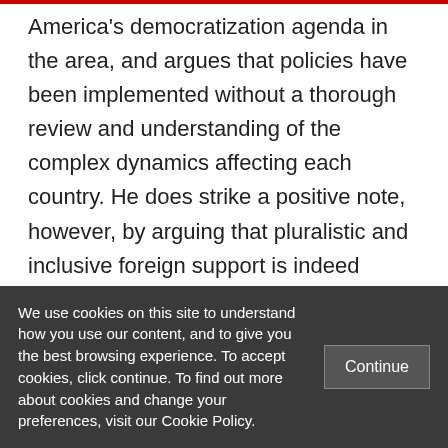America's democratization agenda in the area, and argues that policies have been implemented without a thorough review and understanding of the complex dynamics affecting each country. He does strike a positive note, however, by arguing that pluralistic and inclusive foreign support is indeed desirable and necessary to enable sustainable development in West Asia. Foreign interference in the 21st century is
We use cookies on this site to understand how you use our content, and to give you the best browsing experience. To accept cookies, click continue. To find out more about cookies and change your preferences, visit our Cookie Policy.